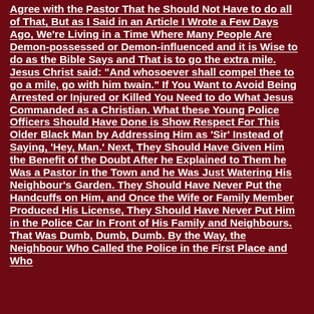Agree with the Pastor That he Should Not Have to do all of That, But as I Said in an Article I Wrote a Few Days Ago, We're Living in a Time Where Many People Are Demon-possessed or Demon-influenced and it is Wise to do as the Bible Says and That is to go the extra mile. Jesus Christ said: "And whosoever shall compel thee to go a mile, go with him twain." If You Want to Avoid Being Arrested or Injured or Killed You Need to do What Jesus Commanded as a Christian. What these Young Police Officers Should Have Done is Show Respect For This Older Black Man by Addressing Him as 'Sir' Instead of Saying, 'Hey, Man.' Next, They Should Have Given Him the Benefit of the Doubt After he Explained to Them he Was a Pastor in the Town and he Was Just Watering His Neighbour's Garden. They Should Have Never Put the Handcuffs on Him, and Once the Wife or Family Member Produced His License, They Should Have Never Put Him in the Police Car In Front of His Family and Neighbours. That Was Dumb, Dumb, Dumb. By the Way, the Neighbour Who Called the Police in the First Place and Who